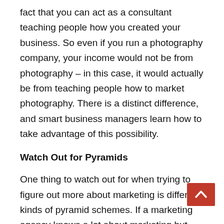fact that you can act as a consultant teaching people how you created your business. So even if you run a photography company, your income would not be from photography – in this case, it would actually be from teaching people how to market photography. There is a distinct difference, and smart business managers learn how to take advantage of this possibility.
Watch Out for Pyramids
One thing to watch out for when trying to figure out more about marketing is different kinds of pyramid schemes. If a marketing agency knows a lot about marketing but doesn't know much about the products they actually market beyond that top level, the advice that they give may not be appropriate to the circumstances. Good, charismatic marketers can take advantage of